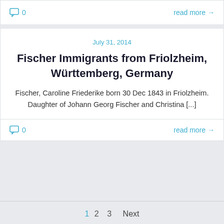0  read more →
July 31, 2014
Fischer Immigrants from Friolzheim, Württemberg, Germany
Fischer, Caroline Friederike born 30 Dec 1843 in Friolzheim. Daughter of Johann Georg Fischer and Christina [...]
0  read more →
1  2  3  Next